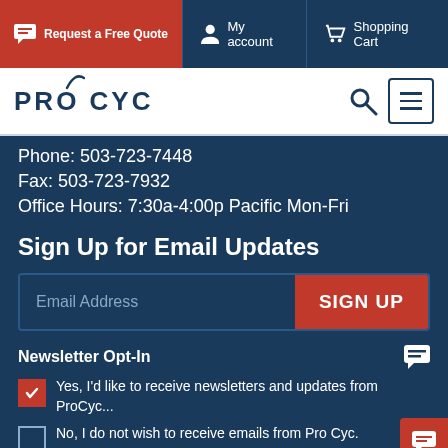[Figure (screenshot): Navigation bar with Request a Free Quote (red), My account, and Shopping Cart buttons on dark blue background]
[Figure (logo): PRO CYC company logo with stylized arc over the letter O]
Phone: 503-723-7448
Fax: 503-723-7932
Office Hours: 7:30a-4:00p Pacific Mon-Fri
Sign Up for Email Updates
Email Address
SIGN UP
Newsletter Opt-In
Yes, I'd like to receive newsletters and updates from ProCyc...
No, I do not wish to receive emails from Pro Cyc.